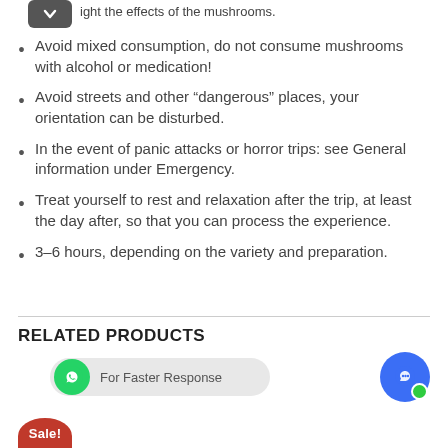Avoid mixed consumption, do not consume mushrooms with alcohol or medication!
Avoid streets and other “dangerous” places, your orientation can be disturbed.
In the event of panic attacks or horror trips: see General information under Emergency.
Treat yourself to rest and relaxation after the trip, at least the day after, so that you can process the experience.
3–6 hours, depending on the variety and preparation.
RELATED PRODUCTS
[Figure (other): WhatsApp For Faster Response button and chat bubble icon]
[Figure (other): Sale! badge (red)]